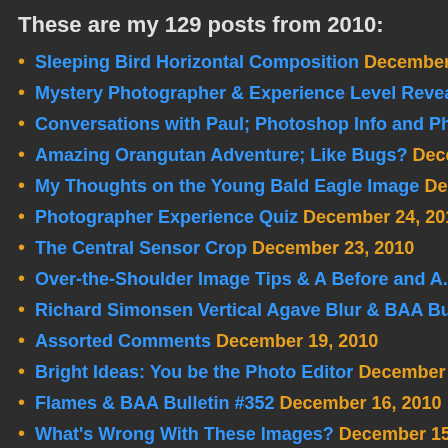These are my 129 posts from 2010:
Sleeping Bird Horizontal Composition December 31,…
Mystery Photographer & Experience Level Revea…
Conversations with Paul; Photoshop Info and Philos…
Amazing Orangutan Adventure; Like Bugs? Decemb…
My Thoughts on the Young Bald Eagle Image Decem…
Photographer Experience Quiz December 24, 2010
The Central Sensor Crop December 23, 2010
Over-the-Shoulder Image Tips & A Before and A… D…
Richard Simonsen Vertical Agave Blur & BAA Bu… D…
Assorted Comments December 19, 2010
Bright Ideas: You be the Photo Editor December 17,…
Flames & BAA Bulletin #352 December 16, 2010
What's Wrong With These Images? December 15, 20…
Cloud Lens December 13, 2010
My Thoughts on A & B and Lots of Lessons Decemb…
The Skinny on a Killer South Georgia/Falklands…